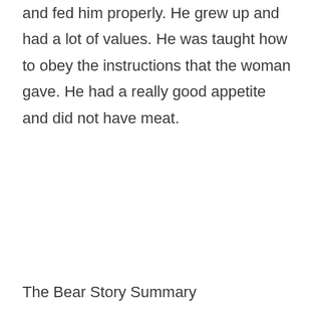and fed him properly. He grew up and had a lot of values. He was taught how to obey the instructions that the woman gave. He had a really good appetite and did not have meat.
The Bear Story Summary